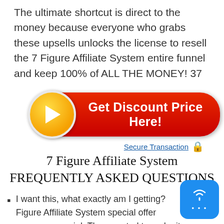The ultimate shortcut is direct to the money because everyone who grabs these upsells unlocks the license to resell the 7 Figure Affiliate System entire funnel and keep 100% of ALL THE MONEY! 37
[Figure (other): Red rounded button with orange circle arrow icon on the left and white bold text reading 'Get Discount Price Here!']
Secure Transaction 🔒
7 Figure Affiliate System FREQUENTLY ASKED QUESTIONS
I want this, what exactly am I getting? Figure Affiliate System special offer makes special. They wanted to make it so good that
[Figure (other): Blue rounded square chat widget with wifi/broadcast icon and ellipsis dots]